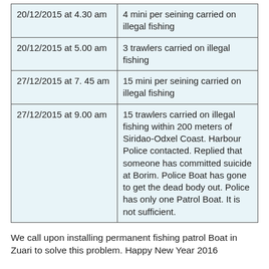| 20/12/2015 at 4.30 am | 4 mini per seining carried on illegal fishing |
| 20/12/2015 at 5.00 am | 3 trawlers carried on illegal fishing |
| 27/12/2015 at 7. 45 am | 15 mini per seining carried on illegal fishing |
| 27/12/2015 at 9.00 am | 15 trawlers carried on illegal fishing within 200 meters of Siridao-Odxel Coast. Harbour Police contacted. Replied that someone has committed suicide at Borim. Police Boat has gone to get the dead body out. Police has only one Patrol Boat. It is not sufficient. |
We call upon installing permanent fishing patrol Boat in Zuari to solve this problem. Happy New Year 2016